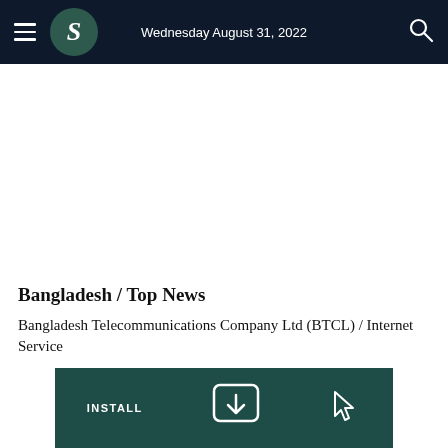Wednesday August 31, 2022
Bangladesh / Top News
Bangladesh Telecommunications Company Ltd (BTCL) / Internet Service
[Figure (screenshot): Bottom app install banner with teal background showing INSTALL text and icons]